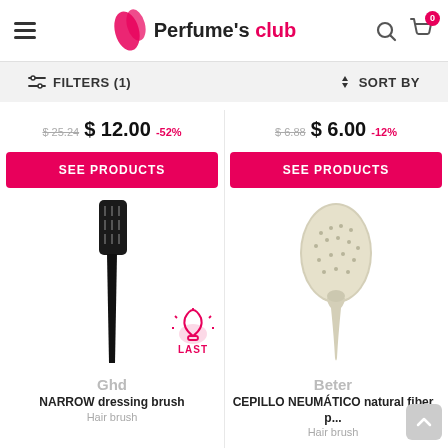Perfume's club
FILTERS (1)   SORT BY
$ 25.24  $ 12.00  -52%
SEE PRODUCTS
[Figure (photo): Black Ghd narrow dressing brush with pointed tail and fine bristles]
LAST
Ghd
NARROW dressing brush
Hair brush
$ 6.88  $ 6.00  -12%
SEE PRODUCTS
[Figure (photo): Beter oval natural fiber hair brush with wooden-look handle and pins]
Beter
CEPILLO NEUMÁTICO natural fiber p...
Hair brush